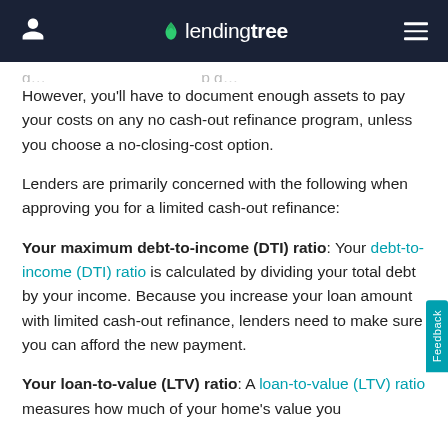LendingTree
g… …p g… However, you'll have to document enough assets to pay your costs on any no cash-out refinance program, unless you choose a no-closing-cost option.
Lenders are primarily concerned with the following when approving you for a limited cash-out refinance:
Your maximum debt-to-income (DTI) ratio: Your debt-to-income (DTI) ratio is calculated by dividing your total debt by your income. Because you increase your loan amount with limited cash-out refinance, lenders need to make sure you can afford the new payment.
Your loan-to-value (LTV) ratio: A loan-to-value (LTV) ratio measures how much of your home's value you